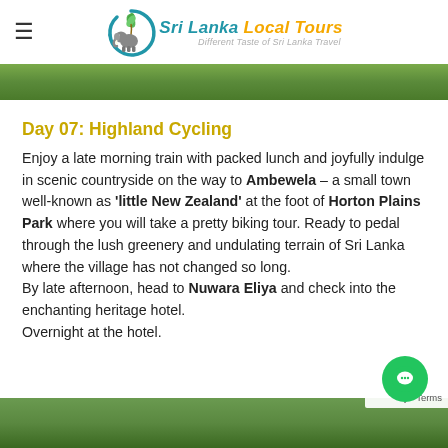Sri Lanka Local Tours – Different Taste of Sri Lanka Travel
[Figure (photo): Scenic green landscape banner at top of page]
Day 07: Highland Cycling
Enjoy a late morning train with packed lunch and joyfully indulge in scenic countryside on the way to Ambewela – a small town well-known as 'little New Zealand' at the foot of Horton Plains Park where you will take a pretty biking tour. Ready to pedal through the lush greenery and undulating terrain of Sri Lanka where the village has not changed so long.
By late afternoon, head to Nuwara Eliya and check into the enchanting heritage hotel.
Overnight at the hotel.
[Figure (photo): Green hilly landscape at the bottom of the page]